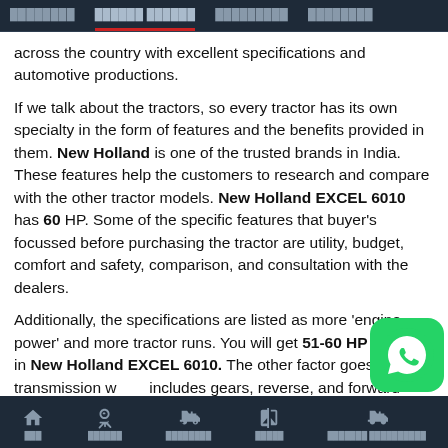[Navigation tabs: tab1 | tab2 | tab3 | tab4]
across the country with excellent specifications and automotive productions.
If we talk about the tractors, so every tractor has its own specialty in the form of features and the benefits provided in them. New Holland is one of the trusted brands in India. These features help the customers to research and compare with the other tractor models. New Holland EXCEL 6010 has 60 HP. Some of the specific features that buyer's focussed before purchasing the tractor are utility, budget, comfort and safety, comparison, and consultation with the dealers.
Additionally, the specifications are listed as more 'engine power' and more tractor runs. You will get 51-60 HP Range in New Holland EXCEL 6010. The other factor goes with the transmission which includes gears, reverse, and forward speed, the functioning of brakes, and power of the single and dual-clutch system. New
[Home] [Price] [Tractors] [Compare] [Tractor Comparison]